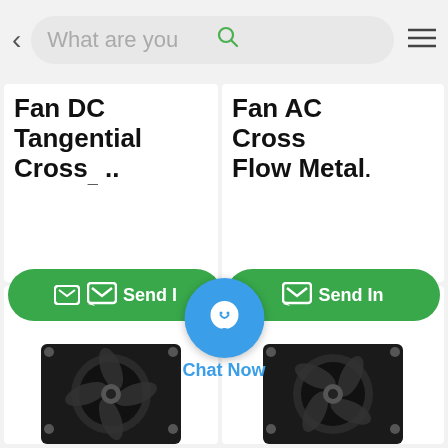[Figure (screenshot): Mobile e-commerce app screenshot showing a search bar at top with text 'What are you', a back arrow, search icon, and hamburger menu. Below are product cards: 'Fan DC Tangential Cross ..' and 'Fan AC Cross Flow Metal.' with green Send Inquiry buttons. A blue Chat Now floating button is overlaid in the center. Bottom row shows two more product cards with fan images.]